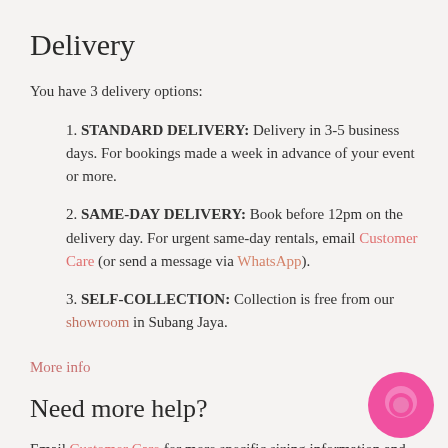Delivery
You have 3 delivery options:
1. STANDARD DELIVERY: Delivery in 3-5 business days. For bookings made a week in advance of your event or more.
2. SAME-DAY DELIVERY: Book before 12pm on the delivery day. For urgent same-day rentals, email Customer Care (or send a message via WhatsApp).
3. SELF-COLLECTION: Collection is free from our showroom in Subang Jaya.
More info
Need more help?
Email Customer Care for more specific sizing information and alterations advice.